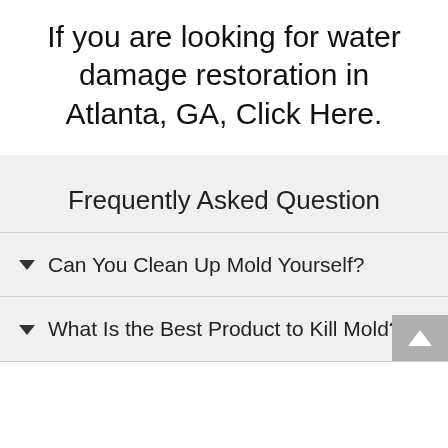If you are looking for water damage restoration in Atlanta, GA, Click Here.
Frequently Asked Question
Can You Clean Up Mold Yourself?
What Is the Best Product to Kill Mold?